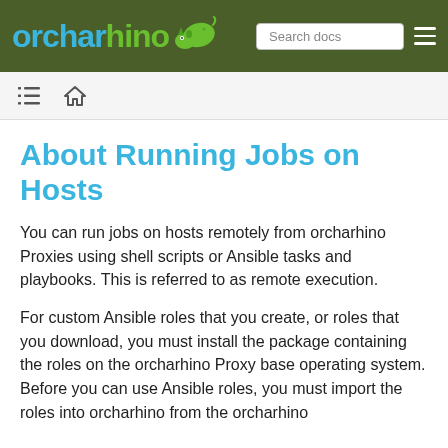orcharhino | Search docs
About Running Jobs on Hosts
You can run jobs on hosts remotely from orcharhino Proxies using shell scripts or Ansible tasks and playbooks. This is referred to as remote execution.
For custom Ansible roles that you create, or roles that you download, you must install the package containing the roles on the orcharhino Proxy base operating system. Before you can use Ansible roles, you must import the roles into orcharhino from the orcharhino Proxy where they are installed.